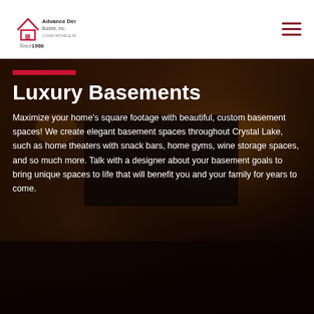[Figure (logo): Advance Design Builder Inc. logo - red house outline with company name]
[Figure (photo): Hamburger menu icon (three horizontal red lines)]
[Figure (photo): Background photo of a luxury basement home theater with warm amber lighting, large screen TV, and dark leather seating]
Luxury Basements
Maximize your home’s square footage with beautiful, custom basement spaces! We create elegant basement spaces throughout Crystal Lake, such as home theaters with snack bars, home gyms, wine storage spaces, and so much more. Talk with a designer about your basement goals to bring unique spaces to life that will benefit you and your family for years to come.